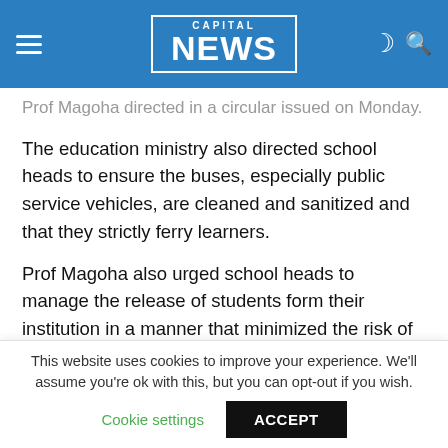CAPITAL NEWS
Prof Magoha directed in a circular issued on Monday.
The education ministry also directed school heads to ensure the buses, especially public service vehicles, are cleaned and sanitized and that they strictly ferry learners.
Prof Magoha also urged school heads to manage the release of students form their institution in a manner that minimized the risk of transmitting the virus that has so far been detected in three patients who are quarantined in Nairobi.
He said the schools have until Wednesday to ensure all
This website uses cookies to improve your experience. We'll assume you're ok with this, but you can opt-out if you wish. Cookie settings ACCEPT